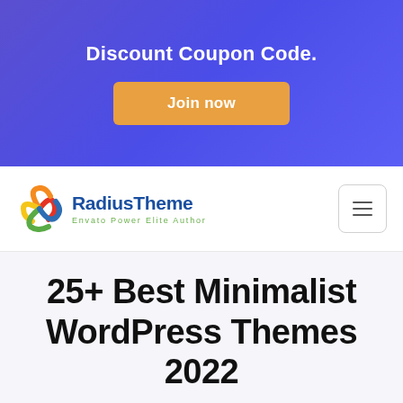Discount Coupon Code.
Join now
[Figure (logo): RadiusTheme logo with colorful swirl icon and text 'RadiusTheme' in blue, tagline 'Envato Power Elite Author' in green]
[Figure (other): Hamburger menu button icon with three horizontal lines inside a rounded rectangle border]
25+ Best Minimalist WordPress Themes 2022